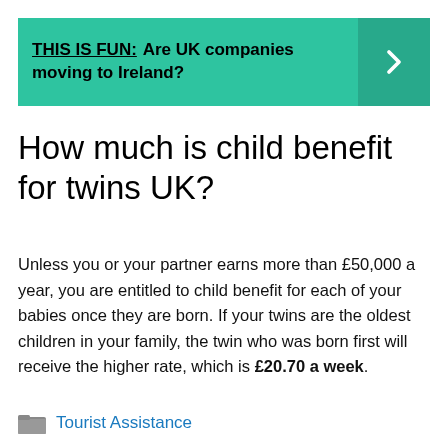[Figure (infographic): Teal/green banner with bold text 'THIS IS FUN: Are UK companies moving to Ireland?' and a right-arrow chevron on the right side]
How much is child benefit for twins UK?
Unless you or your partner earns more than £50,000 a year, you are entitled to child benefit for each of your babies once they are born. If your twins are the oldest children in your family, the twin who was born first will receive the higher rate, which is £20.70 a week.
Tourist Assistance